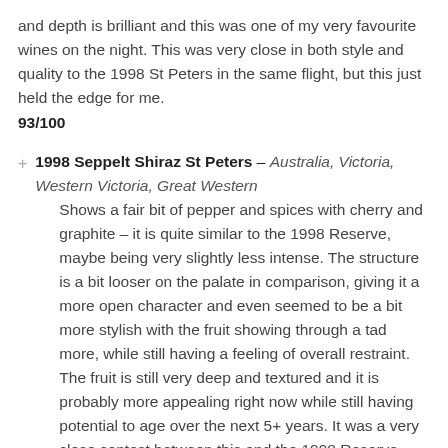and depth is brilliant and this was one of my very favourite wines on the night. This was very close in both style and quality to the 1998 St Peters in the same flight, but this just held the edge for me.
93/100
1998 Seppelt Shiraz St Peters – Australia, Victoria, Western Victoria, Great Western
Shows a fair bit of pepper and spices with cherry and graphite – it is quite similar to the 1998 Reserve, maybe being very slightly less intense. The structure is a bit looser on the palate in comparison, giving it a more open character and even seemed to be a bit more stylish with the fruit showing through a tad more, while still having a feeling of overall restraint. The fruit is still very deep and textured and it is probably more appealing right now while still having potential to age over the next 5+ years. It was a very close contest between this and the 1998 Reserve